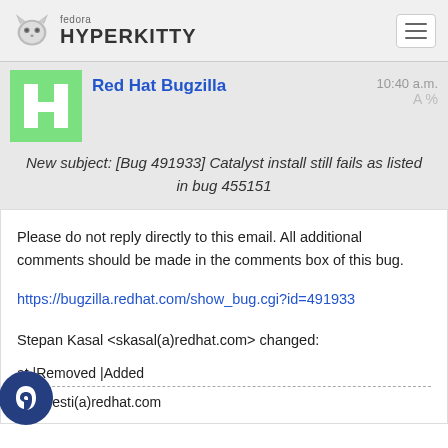fedora HYPERKITTY
Red Hat Bugzilla   10:40 a.m.
New subject: [Bug 491933] Catalyst install still fails as listed in bug 455151
Please do not reply directly to this email. All additional comments should be made in the comments box of this bug.
https://bugzilla.redhat.com/show_bug.cgi?id=491933
Stepan Kasal <skasal(a)redhat.com&gt; changed:
at |Removed |Added
CC| ffesti(a)redhat.com